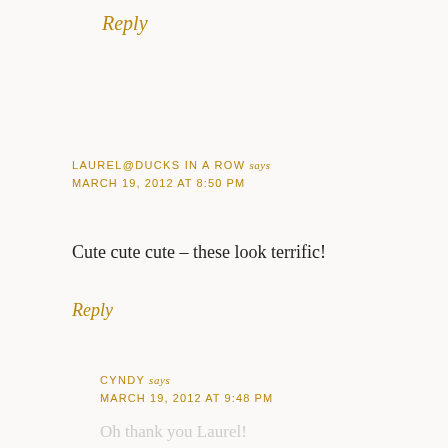Reply
LAUREL@DUCKS IN A ROW says
MARCH 19, 2012 AT 8:50 PM
Cute cute cute – these look terrific!
Reply
CYNDY says
MARCH 19, 2012 AT 9:48 PM
Oh thank you Laurel!